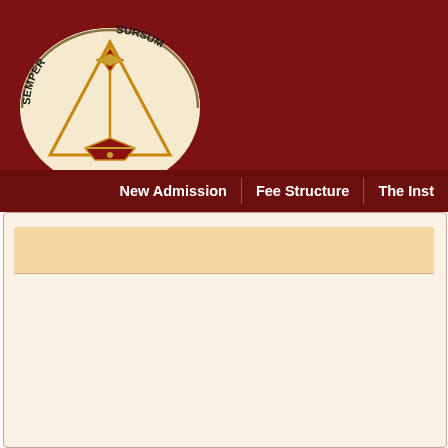[Figure (logo): Semper Sursum logo: semicircle with text SEMPER SURSUM arched, with a triangular compass/star symbol in gold and dark red below]
New Admission | Fee Structure | The Inst